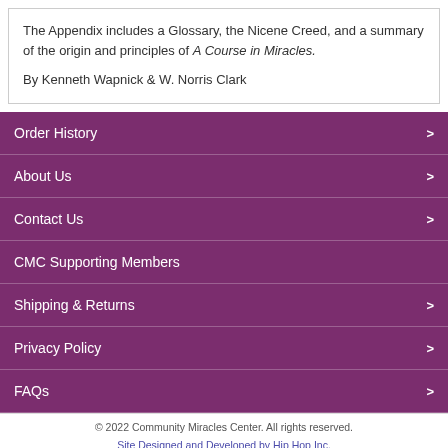The Appendix includes a Glossary, the Nicene Creed, and a summary of the origin and principles of A Course in Miracles.
By Kenneth Wapnick & W. Norris Clark
Order History >
About Us >
Contact Us >
CMC Supporting Members
Shipping & Returns >
Privacy Policy >
FAQs >
© 2022 Community Miracles Center. All rights reserved.